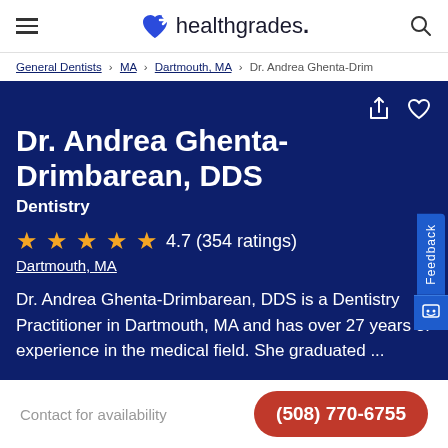healthgrades
General Dentists > MA > Dartmouth, MA > Dr. Andrea Ghenta-Drim
Dr. Andrea Ghenta-Drimbarean, DDS
Dentistry
4.7 (354 ratings)
Dartmouth, MA
Dr. Andrea Ghenta-Drimbarean, DDS is a Dentistry Practitioner in Dartmouth, MA and has over 27 years of experience in the medical field. She graduated ...
Contact for availability
(508) 770-6755